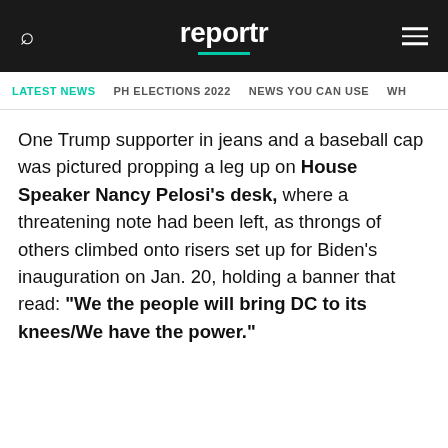reportr
LATEST NEWS   PH ELECTIONS 2022   NEWS YOU CAN USE   WH
One Trump supporter in jeans and a baseball cap was pictured propping a leg up on House Speaker Nancy Pelosi's desk, where a threatening note had been left, as throngs of others climbed onto risers set up for Biden's inauguration on Jan. 20, holding a banner that read: "We the people will bring DC to its knees/We have the power."
CONTINUE READING BELOW ↓